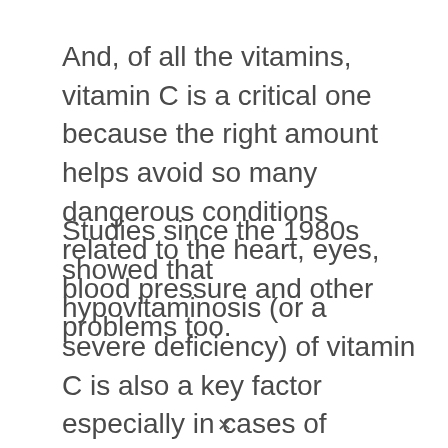And, of all the vitamins, vitamin C is a critical one because the right amount helps avoid so many dangerous conditions related to the heart, eyes, blood pressure and other problems too.
Studies since the 1980s showed that hypovitaminosis (or a severe deficiency) of vitamin C is also a key factor especially in cases of chronic alcoholism. That is because alcohol does an excellent job of getting the body rid of essential vitamins.